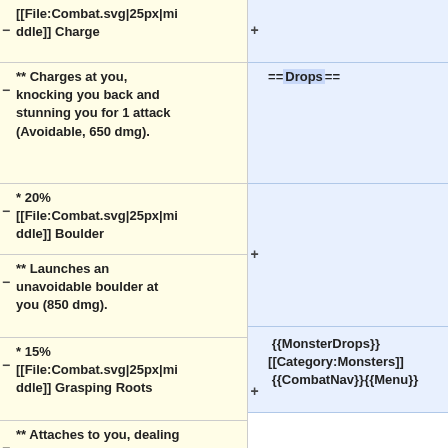–[[File:Combat.svg|25px|middle]] Charge
** Charges at you, knocking you back and stunning you for 1 attack (Avoidable, 650 dmg).
* 20% [[File:Combat.svg|25px|middle]] Boulder
** Launches an unavoidable boulder at you (850 dmg).
* 15% [[File:Combat.svg|25px|middle]] Grasping Roots
** Attaches to you, dealing 600 dmg and slows your attack speed by 33% for 2 attacks (Unavoidable).
+ (blank right row top)
==Drops==
+ (blank right row middle)
{{MonsterDrops}} [[Category:Monsters]] {{CombatNav}}{{Menu}}